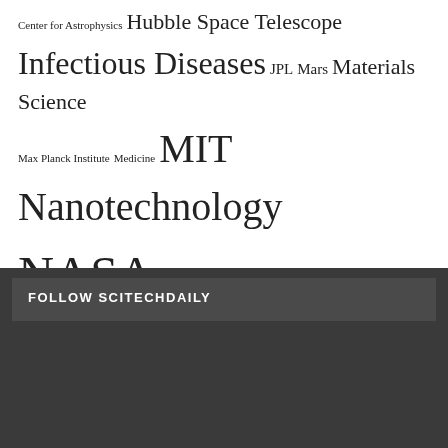Center for Astrophysics Hubble Space Telescope Infectious Diseases JPL Mars Materials Science Max Planck Institute Medicine MIT Nanotechnology NASA NASA Goddard Space Flight Center Neuroscience Nutrition Paleontology Particle Physics Planetary Science Planets Popular Public Health Quantum Physics Vaccine Virology Yale University
FOLLOW SCITECHDAILY
[Figure (photo): Advertisement for Hot Topic featuring House of the Dragon HBO merchandise with two costumed figures on the left and branding on the right with a Shop Now button]